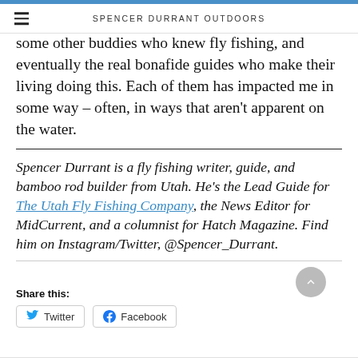SPENCER DURRANT OUTDOORS
some other buddies who knew fly fishing, and eventually the real bonafide guides who make their living doing this. Each of them has impacted me in some way – often, in ways that aren't apparent on the water.
Spencer Durrant is a fly fishing writer, guide, and bamboo rod builder from Utah. He's the Lead Guide for The Utah Fly Fishing Company, the News Editor for MidCurrent, and a columnist for Hatch Magazine. Find him on Instagram/Twitter, @Spencer_Durrant.
Share this:
Twitter  Facebook